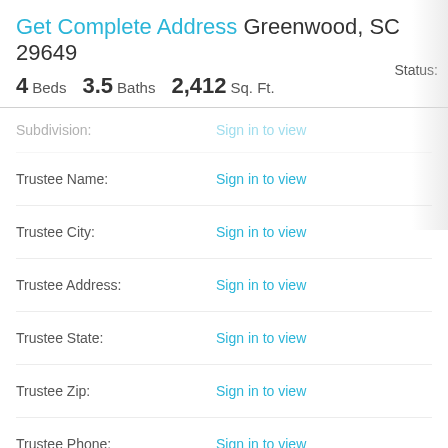Get Complete Address Greenwood, SC 29649
4 Beds   3.5 Baths   2,412 Sq. Ft.   Status:
| Field | Value |
| --- | --- |
| Subdivision: | Sign in to view |
| Trustee Name: | Sign in to view |
| Trustee City: | Sign in to view |
| Trustee Address: | Sign in to view |
| Trustee State: | Sign in to view |
| Trustee Zip: | Sign in to view |
| Trustee Phone: | Sign in to view |
| Court Name: | Sign in to view |
| Court Address: | Sign in to view |
Potential Home Value
This property has untapped potential!